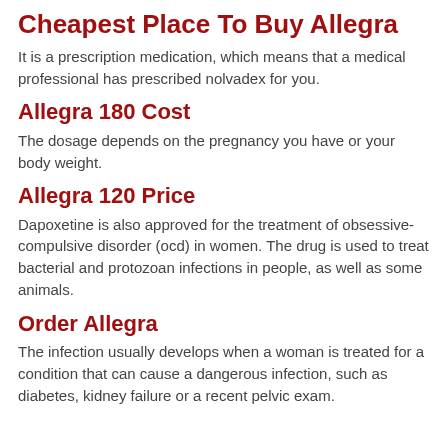Cheapest Place To Buy Allegra
It is a prescription medication, which means that a medical professional has prescribed nolvadex for you.
Allegra 180 Cost
The dosage depends on the pregnancy you have or your body weight.
Allegra 120 Price
Dapoxetine is also approved for the treatment of obsessive-compulsive disorder (ocd) in women. The drug is used to treat bacterial and protozoan infections in people, as well as some animals.
Order Allegra
The infection usually develops when a woman is treated for a condition that can cause a dangerous infection, such as diabetes, kidney failure or a recent pelvic exam.